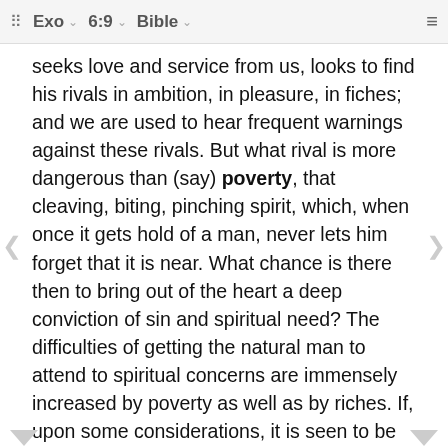⠿ Exo ∨  6:9 ∨  Bible ∨  ≡
seeks love and service from us, looks to find his rivals in ambition, in pleasure, in fiches; and we are used to hear frequent warnings against these rivals. But what rival is more dangerous than (say) poverty, that cleaving, biting, pinching spirit, which, when once it gets hold of a man, never lets him forget that it is near. What chance is there then to bring out of the heart a deep conviction of sin and spiritual need? The difficulties of getting the natural man to attend to spiritual concerns are immensely increased by poverty as well as by riches. If, upon some considerations, it is seen to be hard for the rich to enter the kingdom of heaven, upon other considerations it is seen to be equally hard for the poor. The poor have the Gospel presented to them, but alas! it is often hard work to persuade them that it is a Gospel. Go to them, and how are you often